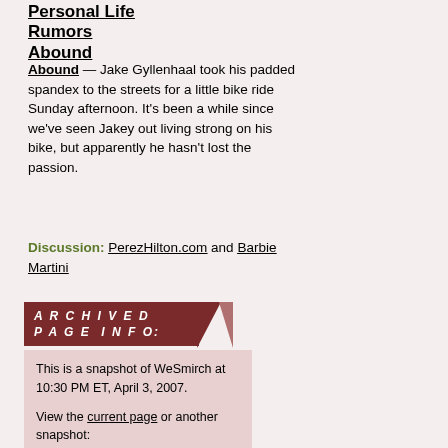Personal Life Rumors Abound
— Jake Gyllenhaal took his padded spandex to the streets for a little bike ride Sunday afternoon. It's been a while since we've seen Jakey out living strong on his bike, but apparently he hasn't lost the passion.
Discussion: PerezHilton.com and Barbie Martini
ARCHIVED PAGE INFO:
This is a snapshot of WeSmirch at 10:30 PM ET, April 3, 2007.

View the current page or another snapshot:

Page version:
April 3, 2007, 10:30 PM